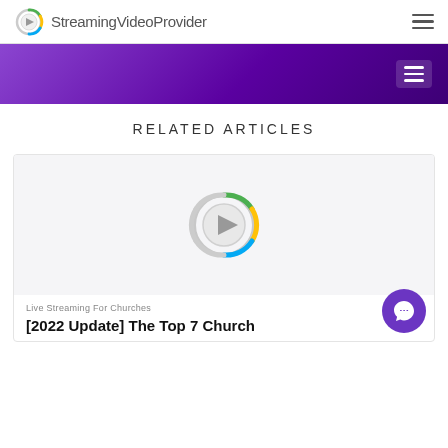StreamingVideoProvider
RELATED ARTICLES
[Figure (screenshot): Article card with StreamingVideoProvider logo (circular play button with colorful segmented ring) on a light gray background]
Live Streaming For Churches
[2022 Update] The Top 7 Church